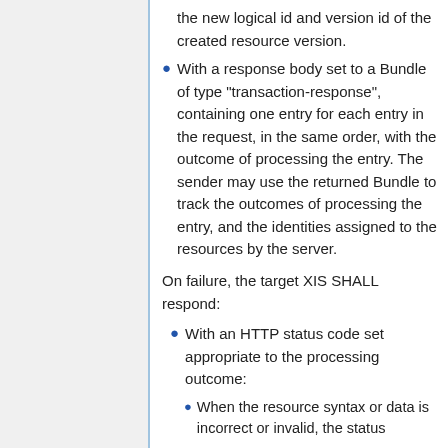the new logical id and version id of the created resource version.
With a response body set to a Bundle of type "transaction-response", containing one entry for each entry in the request, in the same order, with the outcome of processing the entry. The sender may use the returned Bundle to track the outcomes of processing the entry, and the identities assigned to the resources by the server.
On failure, the target XIS SHALL respond:
With an HTTP status code set appropriate to the processing outcome:
When the resource syntax or data is incorrect or invalid, the status